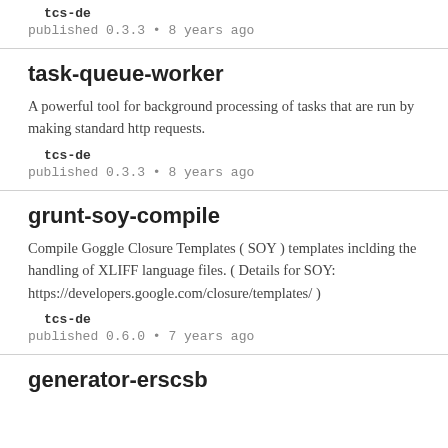tcs-de
published 0.3.3 • 8 years ago
task-queue-worker
A powerful tool for background processing of tasks that are run by making standard http requests.
tcs-de
published 0.3.3 • 8 years ago
grunt-soy-compile
Compile Goggle Closure Templates ( SOY ) templates inclding the handling of XLIFF language files. ( Details for SOY: https://developers.google.com/closure/templates/ )
tcs-de
published 0.6.0 • 7 years ago
generator-erscsb